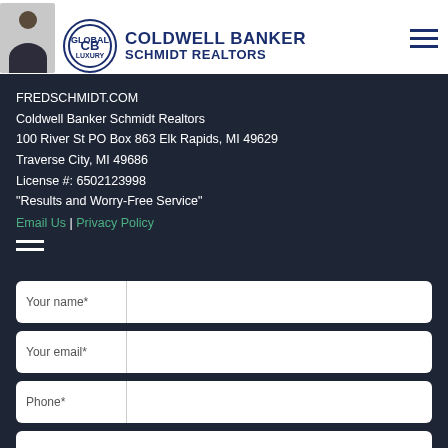[Figure (logo): Coldwell Banker Schmidt Realtors logo with circular emblem and agent photo]
FREDSCHMIDT.COM
Coldwell Banker Schmidt Realtors
100 River St PO Box 863 Elk Rapids, MI 49629
Traverse City, MI 49686
License #: 6502123998
"Results and Worry-Free Service"
Email Us | Privacy Policy
[Figure (other): Hamburger menu icon (three horizontal lines)]
[Figure (screenshot): Contact form with fields: Your name*, Your email*, Phone*, and a message textarea]